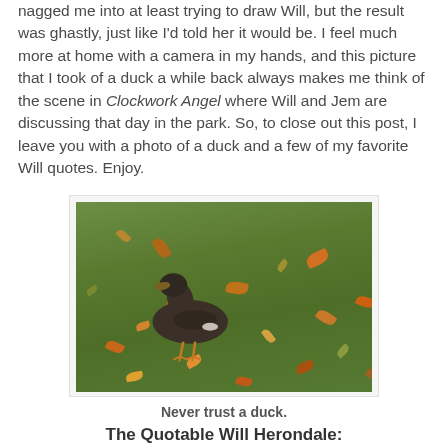nagged me into at least trying to draw Will, but the result was ghastly, just like I'd told her it would be. I feel much more at home with a camera in my hands, and this picture that I took of a duck a while back always makes me think of the scene in Clockwork Angel where Will and Jem are discussing that day in the park. So, to close out this post, I leave you with a photo of a duck and a few of my favorite Will quotes. Enjoy.
[Figure (photo): A duck standing on green grass scattered with fallen autumn leaves in various colors (orange, brown, yellow, green).]
Never trust a duck.
The Quotable Will Herondale: